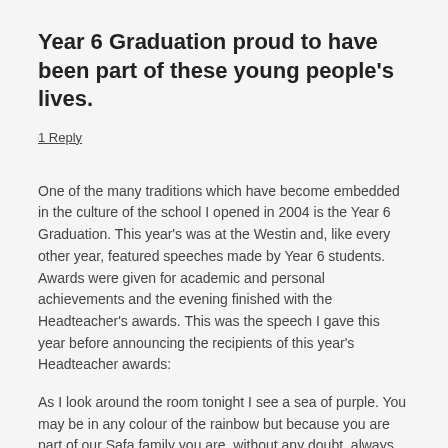Year 6 Graduation proud to have been part of these young people's lives.
1 Reply
One of the many traditions which have become embedded in the culture of the school I opened in 2004 is the Year 6 Graduation. This year's was at the Westin and, like every other year, featured speeches made by Year 6 students. Awards were given for academic and personal achievements and the evening finished with the Headteacher's awards. This was the speech I gave this year before announcing the recipients of this year's Headteacher awards:
As I look around the room tonight I see a sea of purple. You may be in any colour of the rainbow but because you are part of our Safa family you are, without any doubt, always going to be purple. And it is the same shade of purple that I see, so